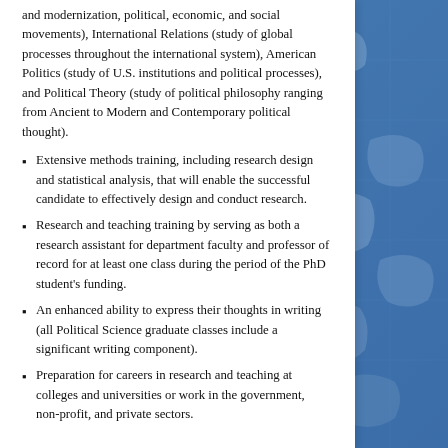and modernization, political, economic, and social movements), International Relations (study of global processes throughout the international system), American Politics (study of U.S. institutions and political processes), and Political Theory (study of political philosophy ranging from Ancient to Modern and Contemporary political thought).
Extensive methods training, including research design and statistical analysis, that will enable the successful candidate to effectively design and conduct research.
Research and teaching training by serving as both a research assistant for department faculty and professor of record for at least one class during the period of the PhD student's funding.
An enhanced ability to express their thoughts in writing (all Political Science graduate classes include a significant writing component).
Preparation for careers in research and teaching at colleges and universities or work in the government, non-profit, and private sectors.